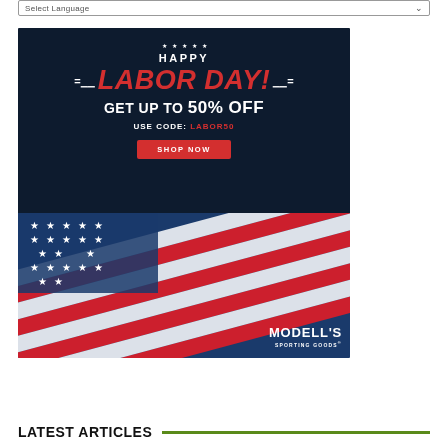Select Language
[Figure (illustration): Modell's Sporting Goods Labor Day advertisement banner on a dark navy background with American flag imagery. Text reads: HAPPY LABOR DAY! GET UP TO 50% OFF USE CODE: LABOR50 with a SHOP NOW red button. Modell's Sporting Goods logo in bottom right.]
LATEST ARTICLES